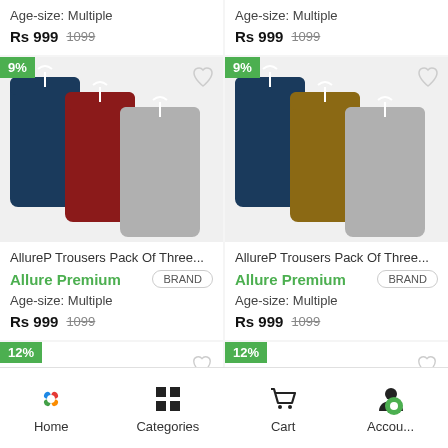Age-size: Multiple
Rs 999  1099
Age-size: Multiple
Rs 999  1099
[Figure (photo): Three pairs of children's trousers in navy, red, and grey with drawstrings, 9% discount badge]
[Figure (photo): Three pairs of children's trousers in navy, brown, and grey with drawstrings, 9% discount badge]
AllureP Trousers Pack Of Three...
Allure Premium   BRAND
Age-size: Multiple
Rs 999  1099
AllureP Trousers Pack Of Three...
Allure Premium   BRAND
Age-size: Multiple
Rs 999  1099
12%
12%
Home   Categories   Cart   Account